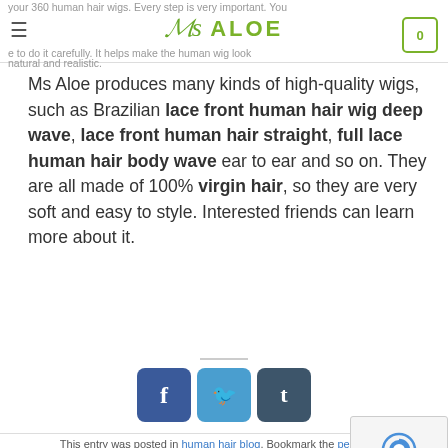Ms Aloe — header with logo, hamburger menu, and cart icon
Ms Aloe produces many kinds of high-quality wigs, such as Brazilian lace front human hair wig deep wave, lace front human hair straight, full lace human hair body wave ear to ear and so on. They are all made of 100% virgin hair, so they are very soft and easy to style. Interested friends can learn more about it.
[Figure (infographic): Social sharing buttons: Facebook (f), Twitter bird, Tumblr (t)]
This entry was posted in human hair blog. Bookmark the permalink.
[Figure (illustration): reCAPTCHA widget with circular arrow icon and Privacy - Terms text]
MSALOE